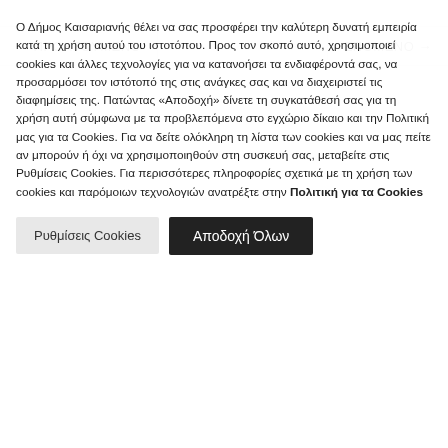← ΠΡΟΗΓΟΥΜΕΝΟ   ΕΠΟΜΕΝΟ →
Ο Δήμος Καισαριανής θέλει να σας προσφέρει την καλύτερη δυνατή εμπειρία κατά τη χρήση αυτού του ιστοτόπου. Προς τον σκοπό αυτό, χρησιμοποιεί cookies και άλλες τεχνολογίες για να κατανοήσει τα ενδιαφέροντά σας, να προσαρμόσει τον ιστότοπό της στις ανάγκες σας και να διαχειριστεί τις διαφημίσεις της. Πατώντας «Αποδοχή» δίνετε τη συγκατάθεσή σας για τη χρήση αυτή σύμφωνα με τα προβλεπόμενα στο εγχώριο δίκαιο και την Πολιτική μας για τα Cookies. Για να δείτε ολόκληρη τη λίστα των cookies και να μας πείτε αν μπορούν ή όχι να χρησιμοποιηθούν στη συσκευή σας, μεταβείτε στις Ρυθμίσεις Cookies. Για περισσότερες πληροφορίες σχετικά με τη χρήση των cookies και παρόμοιων τεχνολογιών ανατρέξτε στην Πολιτική για τα Cookies
Ρυθμίσεις Cookies
Αποδοχή Όλων